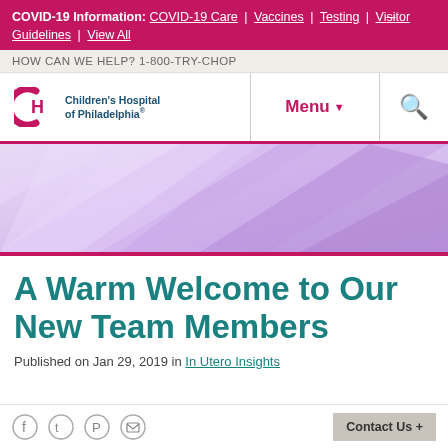COVID-19 Information: COVID-19 Care | Vaccines | Testing | Visitor Guidelines | View All
HOW CAN WE HELP? 1-800-TRY-CHOP
[Figure (logo): Children's Hospital of Philadelphia CH logo with text]
[Figure (illustration): Abstract purple and lavender geometric banner image]
A Warm Welcome to Our New Team Members
Published on Jan 29, 2019 in In Utero Insights
Social share icons (Facebook, Twitter, Pinterest, Email) | Contact Us +